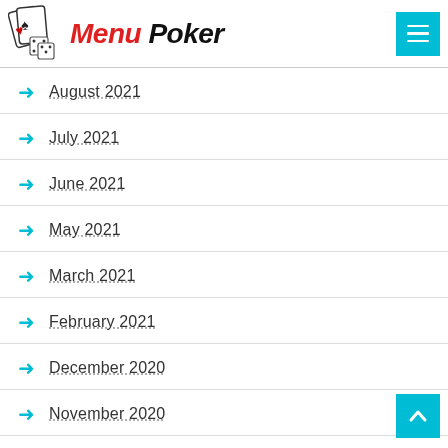Menu Poker
August 2021
July 2021
June 2021
May 2021
March 2021
February 2021
December 2020
November 2020